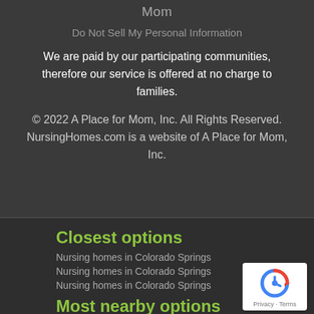Mom
Do Not Sell My Personal Information
We are paid by our participating communities, therefore our service is offered at no charge to families.
© 2022 A Place for Mom, Inc. All Rights Reserved. NursingHomes.com is a website of A Place for Mom, Inc.
Closest options
Nursing homes in Colorado Springs
Nursing homes in Colorado Springs
Nursing homes in Colorado Springs
Most nearby options